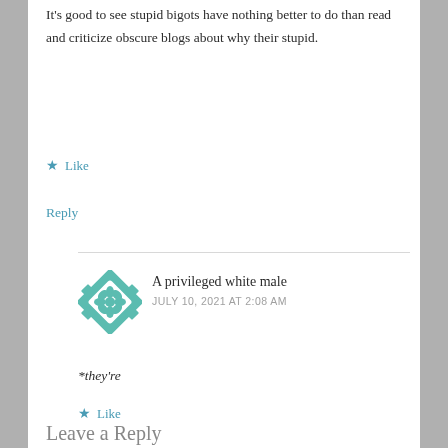It's good to see stupid bigots have nothing better to do than read and criticize obscure blogs about why their stupid.
★ Like
Reply
A privileged white male
JULY 10, 2021 AT 2:08 AM
*they're
★ Like
Leave a Reply